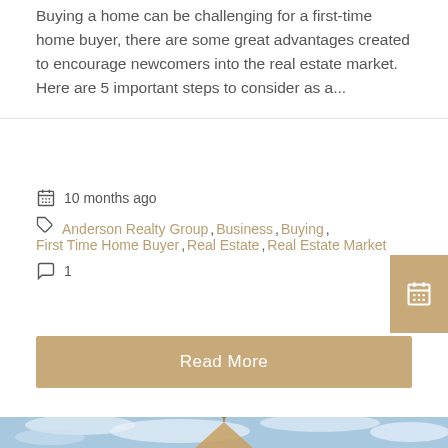Buying a home can be challenging for a first-time home buyer, there are some great advantages created to encourage newcomers into the real estate market. Here are 5 important steps to consider as a...
10 months ago
Anderson Realty Group, Business, Buying, First Time Home Buyer, Real Estate, Real Estate Market
1
Read More
[Figure (photo): House rooftop with decorative finial against a blue cloudy sky]